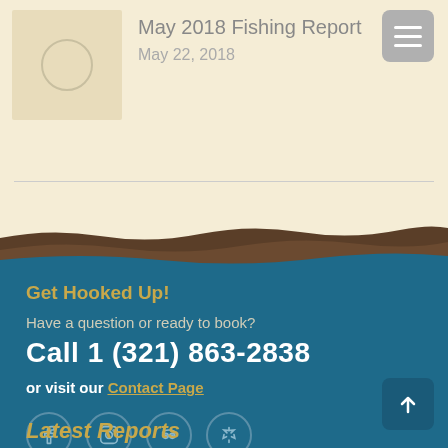May 2018 Fishing Report
May 22, 2018
[Figure (illustration): Website footer section with water/shore illustration background, contact information, social icons, and latest reports label]
Get Hooked Up!
Have a question or ready to book?
Call 1 (321) 863-2838
or visit our Contact Page
Latest Reports